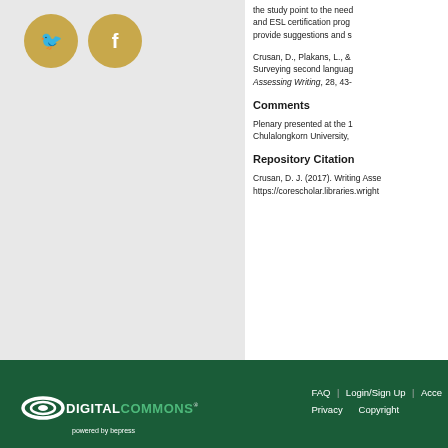[Figure (illustration): Twitter and Facebook social media icons as golden circles with white bird and f logos]
the study point to the need and ESL certification prog provide suggestions and s
Crusan, D., Plakans, L., & Surveying second languag Assessing Writing, 28, 43-
Comments
Plenary presented at the 1 Chulalongkorn University,
Repository Citation
Crusan, D. J. (2017). Writing Asse https://corescholar.libraries.wright
[Figure (logo): Digital Commons powered by bepress logo in white and green on dark green background]
FAQ | Login/Sign Up | Acce Privacy Copyright